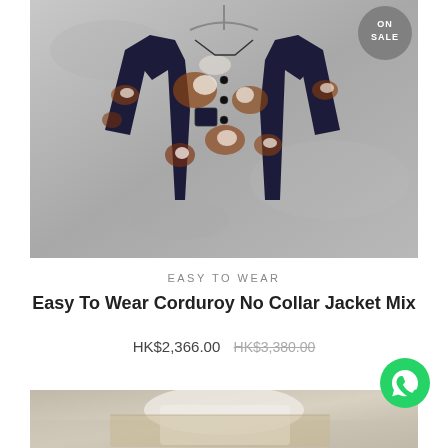[Figure (photo): A tie-dye / bleached corduroy jacket hanging on a hanger against a grey concrete wall. The jacket has a mix of navy blue, rust/brown, and white bleached patterns. It has a no-collar design with button front and patch pockets. An 'ON SALE' circular badge appears in the top right corner.]
EASY TO WEAR
Easy To Wear Corduroy No Collar Jacket Mix
HK$2,366.00 HK$3,380.00
[Figure (photo): Partial view of a second product image at the bottom of the page, showing what appears to be a white garment on a light background.]
[Figure (logo): WhatsApp circular button icon in green with white phone/chat logo.]